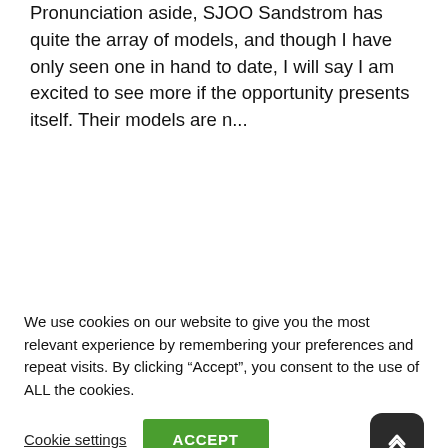Pronunciation aside, SJOO Sandstrom has quite the array of models, and though I have only seen one in hand to date, I will say I am excited to see more if the opportunity presents itself. Their models are n...
We use cookies on our website to give you the most relevant experience by remembering your preferences and repeat visits. By clicking “Accept”, you consent to the use of ALL the cookies.
Cookie settings
ACCEPT